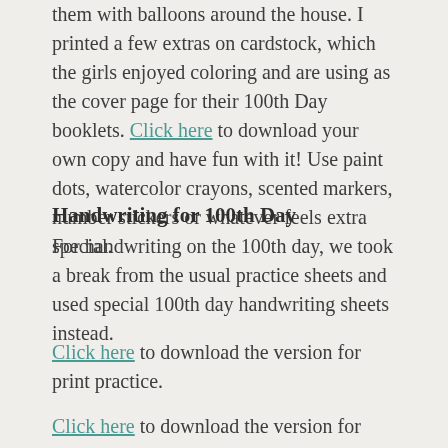them with balloons around the house. I printed a few extras on cardstock, which the girls enjoyed coloring and are using as the cover page for their 100th Day booklets. Click here to download your own copy and have fun with it! Use paint dots, watercolor crayons, scented markers, number stickers or whatever feels extra special.
Handwriting for 100th Day
For handwriting on the 100th day, we took a break from the usual practice sheets and used special 100th day handwriting sheets instead.
Click here to download the version for print practice.
Click here to download the version for cursive